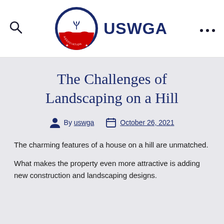USWGA
The Challenges of Landscaping on a Hill
By uswga   October 26, 2021
The charming features of a house on a hill are unmatched.
What makes the property even more attractive is adding new construction and landscaping designs.